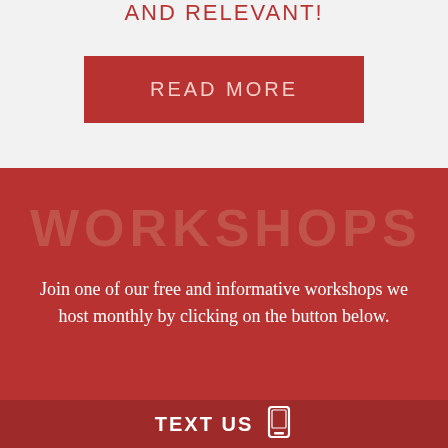AND RELEVANT!
READ MORE
WORKSHOPS
Join one of our free and informative workshops we host monthly by clicking on the button below.
TEXT US